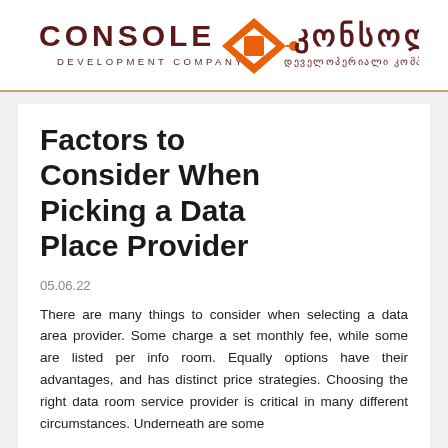CONSOLE DEVELOPMENT COMPANY / კონსოლი დეველოპერიალი კომპანია
Factors to Consider When Picking a Data Place Provider
05.06.22
There are many things to consider when selecting a data area provider. Some charge a set monthly fee, while some are listed per info room. Equally options have their advantages, and has distinct price strategies. Choosing the right data room service provider is critical in many different circumstances. Underneath are some